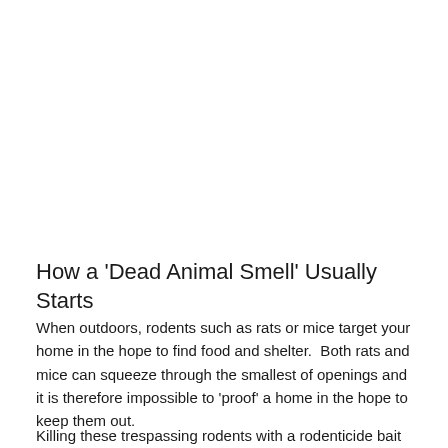How a 'Dead Animal Smell' Usually Starts
When outdoors, rodents such as rats or mice target your home in the hope to find food and shelter.  Both rats and mice can squeeze through the smallest of openings and it is therefore impossible to 'proof' a home in the hope to keep them out.
Killing these trespassing rodents with a rodenticide bait can resolve one issue but unfortunately often leads to